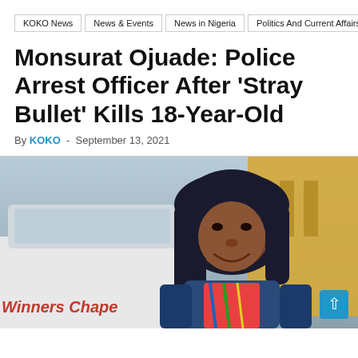KOKO News | News & Events | News in Nigeria | Politics And Current Affairs
Monsurat Ojuade: Police Arrest Officer After 'Stray Bullet' Kills 18-Year-Old
By KOKO - September 13, 2021
[Figure (photo): Young woman wearing a black hijab, smiling, in front of a white Winners Chapel van and a yellow building with a cloudy sky background]